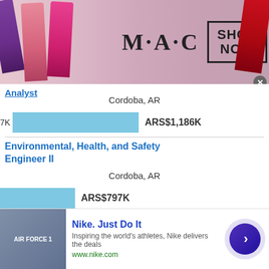[Figure (photo): MAC cosmetics advertisement banner showing lipsticks and SHOP NOW button]
Analyst
Cordoba, AR
[Figure (bar-chart): Salary bar]
Environmental, Health, and Safety Engineer II
Cordoba, AR
[Figure (bar-chart): Salary bar]
This site uses cookies and other similar technologies to provide site functionality, analyze traffic and usage, and
[Figure (photo): Nike advertisement banner showing Air Force 1 shoes with Just Do It slogan]